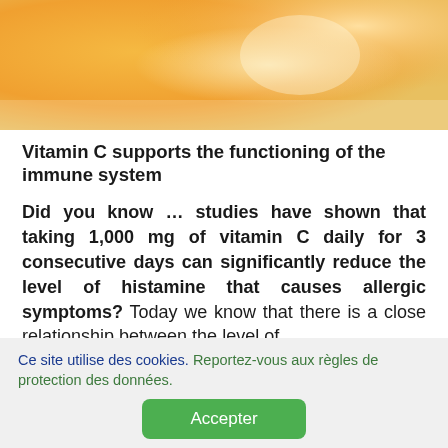[Figure (photo): Warm orange and yellow bokeh background image suggesting citrus or sunlight, used as a decorative hero banner at the top of the page.]
Vitamin C supports the functioning of the immune system
Did you know ... studies have shown that taking 1,000 mg of vitamin C daily for 3 consecutive days can significantly reduce the level of histamine that causes allergic symptoms? Today we know that there is a close relationship between the level of
Ce site utilise des cookies. Reportez-vous aux règles de protection des données.
Accepter